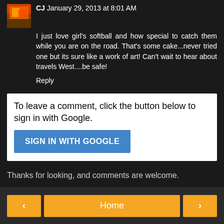CJ January 29, 2013 at 8:01 AM
I just love girl's softball and how special to catch them while you are on the road. That's some cake...never tried one but its sure like a work of art! Can't wait to hear about travels West....be safe!
Reply
To leave a comment, click the button below to sign in with Google.
SIGN IN WITH GOOGLE
Thanks for looking, and comments are welcome.
Home
View web version
Powered by Blogger.